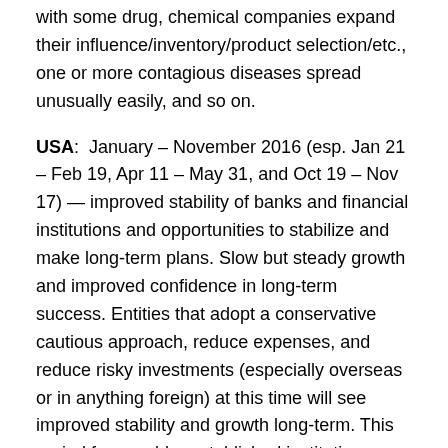with some drug, chemical companies expand their influence/inventory/product selection/etc., one or more contagious diseases spread unusually easily, and so on.
USA:  January – November 2016 (esp. Jan 21 – Feb 19, Apr 11 – May 31, and Oct 19 – Nov 17) — improved stability of banks and financial institutions and opportunities to stabilize and make long-term plans. Slow but steady growth and improved confidence in long-term success. Entities that adopt a conservative cautious approach, reduce expenses, and reduce risky investments (especially overseas or in anything foreign) at this time will see improved stability and growth long-term. This period favors older established institutions.
China: Late Dec. 2015 – late Feb. 2016 (esp. Jan 26-27)